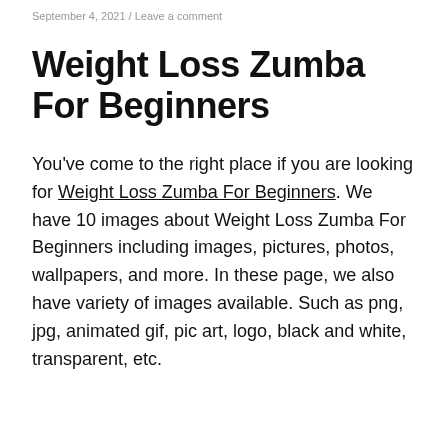September 4, 2021 / Leave a comment
Weight Loss Zumba For Beginners
You've come to the right place if you are looking for Weight Loss Zumba For Beginners. We have 10 images about Weight Loss Zumba For Beginners including images, pictures, photos, wallpapers, and more. In these page, we also have variety of images available. Such as png, jpg, animated gif, pic art, logo, black and white, transparent, etc.